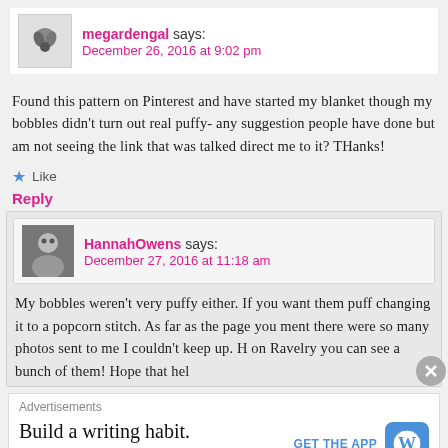megardengal says: December 26, 2016 at 9:02 pm
Found this pattern on Pinterest and have started my blanket though my bobbles didn't turn out real puffy- any suggestion people have done but am not seeing the link that was talked direct me to it? THanks!
Like
Reply
HannahOwens says: December 27, 2016 at 11:18 am
My bobbles weren't very puffy either. If you want them puff changing it to a popcorn stitch. As far as the page you ment there were so many photos sent to me I couldn't keep up. H on Ravelry you can see a bunch of them! Hope that hel
Advertisements
Build a writing habit. Post on the go.
GET THE APP